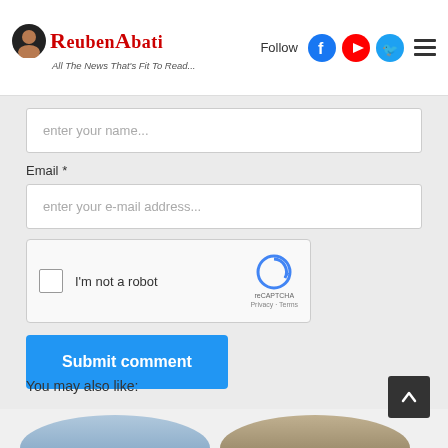ReubenAbati — All The News That's Fit To Read...
enter your name...
Email *
enter your e-mail address...
[Figure (other): reCAPTCHA widget with checkbox labeled I'm not a robot, reCAPTCHA logo, Privacy and Terms links]
Submit comment
You may also like:
[Figure (photo): Two partially visible circular thumbnail images at bottom of page]